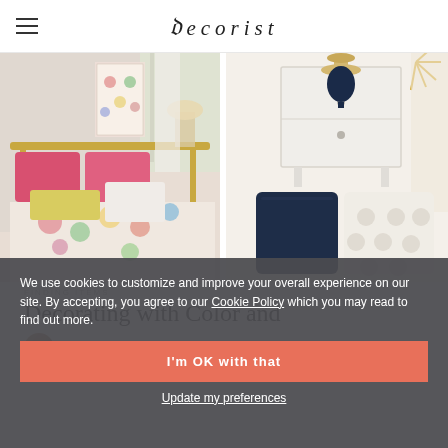decorist
[Figure (photo): Left: bedroom scene with colorful floral bedding, pink pillows, brass bed frame, and lamp. Right: white nightstand with navy lamp, navy throw pillow, and white polka-dot pillow on neutral background.]
FINDING ITEMS
Decorating with Color and
ANSWERED BY  MAY 4, 2017
Hi April,
We use cookies to customize and improve your overall experience on our site. By accepting, you agree to our Cookie Policy which you may read to find out more.
I'm OK with that
Update my preferences